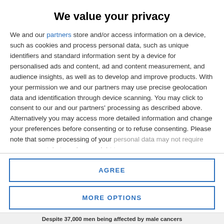We value your privacy
We and our partners store and/or access information on a device, such as cookies and process personal data, such as unique identifiers and standard information sent by a device for personalised ads and content, ad and content measurement, and audience insights, as well as to develop and improve products. With your permission we and our partners may use precise geolocation data and identification through device scanning. You may click to consent to our and our partners' processing as described above. Alternatively you may access more detailed information and change your preferences before consenting or to refuse consenting. Please note that some processing of your personal data may not require your consent, but you have a right to
AGREE
MORE OPTIONS
Despite 37,000 men being affected by male cancers